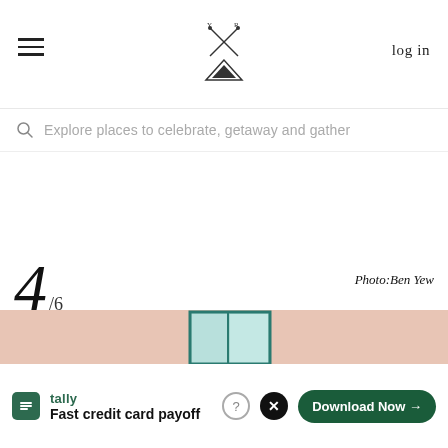≡  [logo]  log in
Explore places to celebrate, getaway and gather
4 /6
Photo:Ben Yew
[Figure (photo): Outdoor courtyard photo with a bride in a white veil, pink stucco building, green plants, red flowers, globe lamp, teal-shuttered window]
tally  Fast credit card payoff
Download Now →